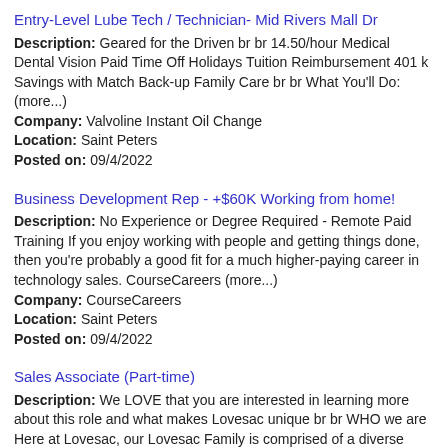Entry-Level Lube Tech / Technician- Mid Rivers Mall Dr
Description: Geared for the Driven br br 14.50/hour Medical Dental Vision Paid Time Off Holidays Tuition Reimbursement 401 k Savings with Match Back-up Family Care br br What You'll Do: (more...)
Company: Valvoline Instant Oil Change
Location: Saint Peters
Posted on: 09/4/2022
Business Development Rep - +$60K Working from home!
Description: No Experience or Degree Required - Remote Paid Training If you enjoy working with people and getting things done, then you're probably a good fit for a much higher-paying career in technology sales. CourseCareers (more...)
Company: CourseCareers
Location: Saint Peters
Posted on: 09/4/2022
Sales Associate (Part-time)
Description: We LOVE that you are interested in learning more about this role and what makes Lovesac unique br br WHO we are Here at Lovesac, our Lovesac Family is comprised of a diverse team who exemplify the (more...)
Company: Lovesac